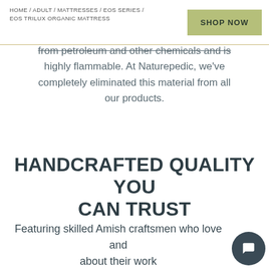HOME / ADULT / MATTRESSES / EOS SERIES / EOS TRILUX ORGANIC MATTRESS
SHOP NOW
from petroleum and other chemicals and is highly flammable. At Naturepedic, we've completely eliminated this material from all our products.
HANDCRAFTED QUALITY YOU CAN TRUST
Featuring skilled Amish craftsmen who love and about their work